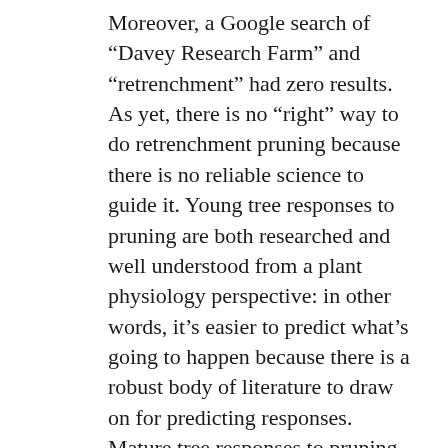Moreover, a Google search of “Davey Research Farm” and “retrenchment” had zero results. As yet, there is no “right” way to do retrenchment pruning because there is no reliable science to guide it. Young tree responses to pruning are both researched and well understood from a plant physiology perspective: in other words, it’s easier to predict what’s going to happen because there is a robust body of literature to draw on for predicting responses. Mature tree responses to pruning are different, because their resource allotment is different, their morphology is different, their physiology is different...and so on. The literature that does exist on the